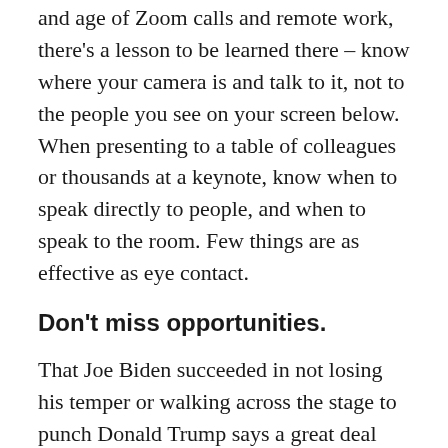and age of Zoom calls and remote work, there's a lesson to be learned there – know where your camera is and talk to it, not to the people you see on your screen below. When presenting to a table of colleagues or thousands at a keynote, know when to speak directly to people, and when to speak to the room. Few things are as effective as eye contact.
Don't miss opportunities.
That Joe Biden succeeded in not losing his temper or walking across the stage to punch Donald Trump says a great deal about his composure. However, there were innumerable times when he just missed hammering home a point. Whether it was drawing clear lines of distinction between himself and the left fringe of the party or not going on a full attack of Trump and his record, Biden missed a few (and